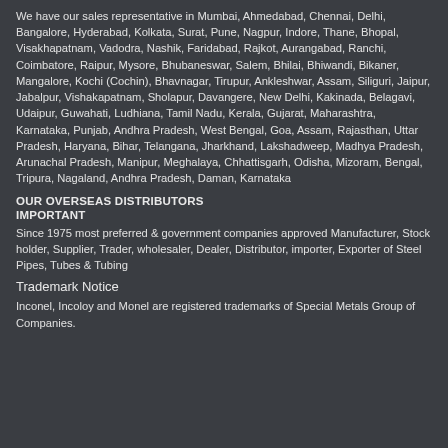We have our sales representative in Mumbai, Ahmedabad, Chennai, Delhi, Bangalore, Hyderabad, Kolkata, Surat, Pune, Nagpur, Indore, Thane, Bhopal, Visakhapatnam, Vadodra, Nashik, Faridabad, Rajkot, Aurangabad, Ranchi, Coimbatore, Raipur, Mysore, Bhubaneswar, Salem, Bhilai, Bhiwandi, Bikaner, Mangalore, Kochi (Cochin), Bhavnagar, Tirupur, Ankleshwar, Assam, Siliguri, Jaipur, Jabalpur, Vishakapatnam, Sholapur, Davangere, New Delhi, Kakinada, Belagavi, Udaipur, Guwahati, Ludhiana, Tamil Nadu, Kerala, Gujarat, Maharashtra, Karnataka, Punjab, Andhra Pradesh, West Bengal, Goa, Assam, Rajasthan, Uttar Pradesh, Haryana, Bihar, Telangana, Jharkhand, Lakshadweep, Madhya Pradesh, Arunachal Pradesh, Manipur, Meghalaya, Chhattisgarh, Odisha, Mizoram, Bengal, Tripura, Nagaland, Andhra Pradesh, Daman, Karnataka
OUR OVERSEAS DISTRIBUTORS
IMPORTANT
Since 1975 most preferred & government companies approved Manufacturer, Stock holder, Supplier, Trader, wholesaler, Dealer, Distributor, importer, Exporter of Steel Pipes, Tubes & Tubing
Trademark Notice
Inconel, Incoloy and Monel are registered trademarks of Special Metals Group of Companies.